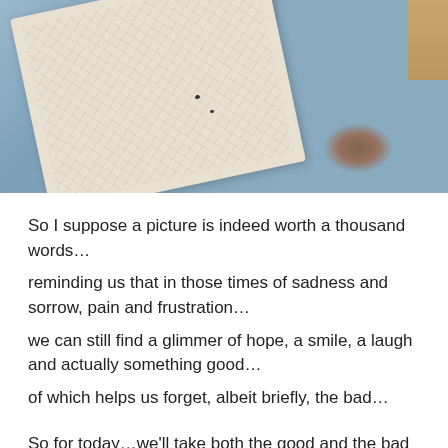[Figure (photo): Photo of a cream/beige knitted or embroidered textile/blanket laid on top of light blue fabric/shirt, with brown stains and dark spots visible on the textile. A small brown leather object is partially visible in the top right corner.]
So I suppose a picture is indeed worth a thousand words…
reminding us that in those times of sadness and sorrow, pain and frustration…
we can still find a glimmer of hope, a smile, a laugh and actually something good…
of which helps us forget, albeit briefly, the bad…

So for today…we'll take both the good and the bad as long